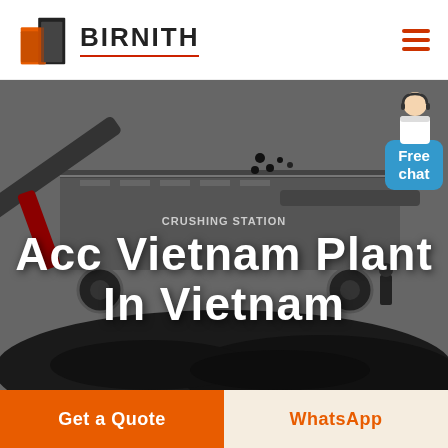[Figure (logo): Birnith company logo with orange building icon and brand name BIRNITH with red underline, plus hamburger menu icon in orange on the right]
[Figure (photo): Industrial crushing station with heavy machinery, conveyor belts, and coal/rock piles in a dark industrial setting]
Acc Vietnam Plant In Vietnam
Free chat
Get a Quote
WhatsApp